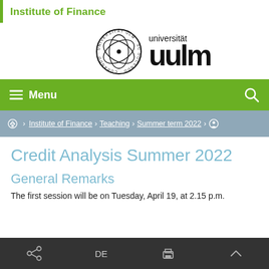Institute of Finance
[Figure (logo): Universität Ulm logo with circular seal and wordmark 'universität uulm']
Menu
Home › Institute of Finance › Teaching › Summer term 2022 ›
Credit Analysis Summer 2022
General Remarks
The first session will be on Tuesday, April 19, at 2.15 p.m.
DE